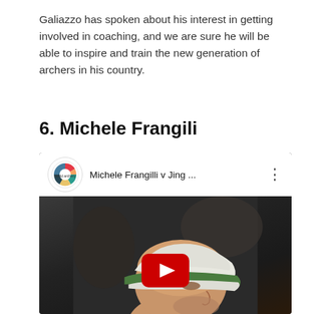Galiazzo has spoken about his interest in getting involved in coaching, and we are sure he will be able to inspire and train the new generation of archers in his country.
6. Michele Frangili
[Figure (screenshot): YouTube video thumbnail showing Michele Frangilli v Jing ... with World Archery logo, video title bar at top, and dark image of a person wearing a white and green bucket hat. Red YouTube play button overlay at bottom center.]